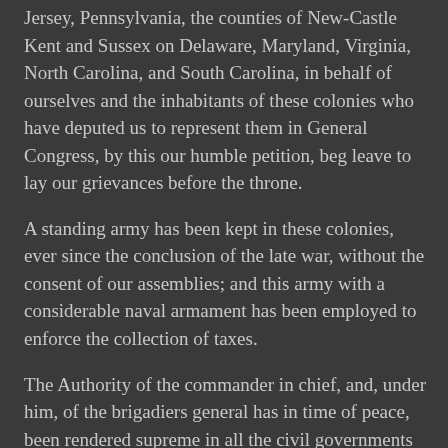Jersey, Pennsylvania, the counties of New-Castle Kent and Sussex on Delaware, Maryland, Virginia, North Carolina, and South Carolina, in behalf of ourselves and the inhabitants of these colonies who have deputed us to represent them in General Congress, by this our humble petition, beg leave to lay our grievances before the throne.
A standing army has been kept in these colonies, ever since the conclusion of the late war, without the consent of our assemblies; and this army with a considerable naval armament has been employed to enforce the collection of taxes.
The Authority of the commander in chief, and, under him, of the brigadiers general has in time of peace, been rendered supreme in all the civil governments in America.
The commander in chief of all your majesty's forces in North-America has, in time of peace, been appointed governor of a colony.